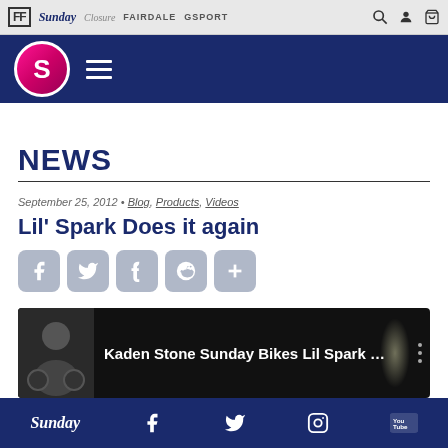FF Sunday Closure FAIRDALE GSPORT
[Figure (logo): Sunday Bikes circular logo with S on dark blue header bar with hamburger menu]
NEWS
September 25, 2012 • Blog, Products, Videos
Lil' Spark Does it again
[Figure (infographic): Social sharing icons: Facebook, Twitter, Tumblr, Reddit, and plus/share button]
[Figure (screenshot): YouTube video thumbnail showing Kaden Stone Sunday Bikes Lil Spark ...]
Sunday  [Facebook] [Twitter] [Instagram] [YouTube]